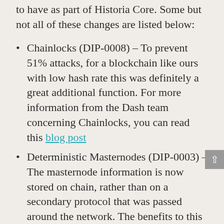to have as part of Historia Core. Some but not all of these changes are listed below:
Chainlocks (DIP-0008) – To prevent 51% attacks, for a blockchain like ours with low hash rate this was definitely a great additional function. For more information from the Dash team concerning Chainlocks, you can read this blog post
Deterministic Masternodes (DIP-0003) – The masternode information is now stored on chain, rather than on a secondary protocol that was passed around the network. The benefits to this are many including simplified code and more efficient bandwidth usage.